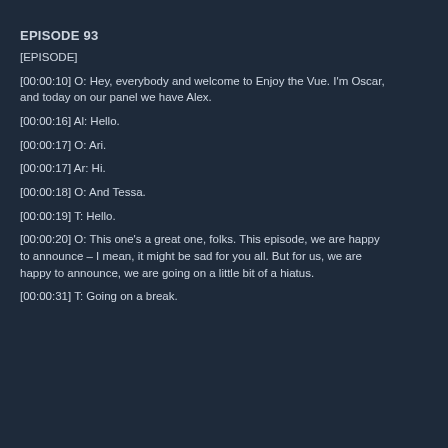EPISODE 93
[EPISODE]
[00:00:10] O: Hey, everybody and welcome to Enjoy the Vue. I'm Oscar, and today on our panel we have Alex.
[00:00:16] Al: Hello.
[00:00:17] O: Ari.
[00:00:17] Ar: Hi.
[00:00:18] O: And Tessa.
[00:00:19] T: Hello.
[00:00:20] O: This one's a great one, folks. This episode, we are happy to announce – I mean, it might be sad for you all. But for us, we are happy to announce, we are going on a little bit of a hiatus.
[00:00:31] T: Going on a break.